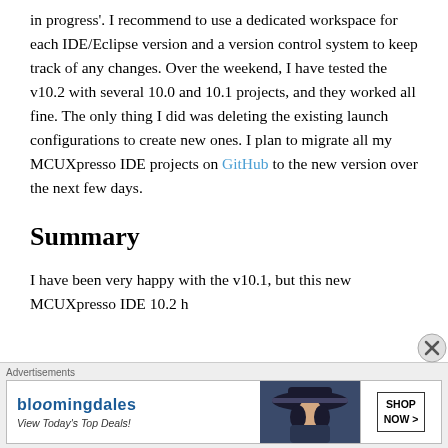in progress'. I recommend to use a dedicated workspace for each IDE/Eclipse version and a version control system to keep track of any changes. Over the weekend, I have tested the v10.2 with several 10.0 and 10.1 projects, and they worked all fine. The only thing I did was deleting the existing launch configurations to create new ones. I plan to migrate all my MCUXpresso IDE projects on GitHub to the new version over the next few days.
Summary
I have been very happy with the v10.1, but this new MCUXpresso IDE 10.2 has even more...
[Figure (other): Bloomingdale's advertisement banner with 'View Today's Top Deals!' tagline and 'SHOP NOW >' button, with a woman in a wide-brim hat photo.]